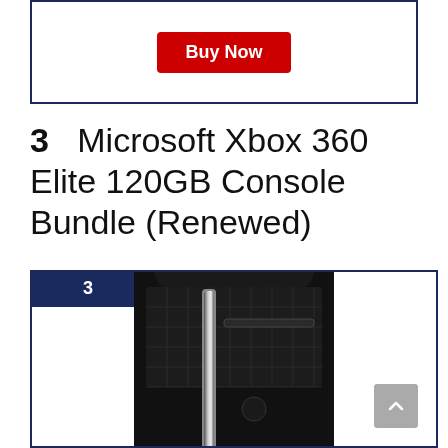[Figure (screenshot): Buy Now red button inside a bordered card]
3   Microsoft Xbox 360 Elite 120GB Console Bundle (Renewed)
[Figure (photo): Microsoft Xbox 360 Elite black console shown vertically inside a dark navy bordered card with a '3' badge in the top-left corner. A scroll-to-top button appears in the bottom-right.]